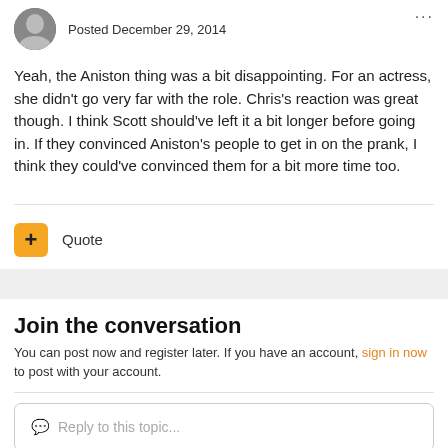Posted December 29, 2014
Yeah, the Aniston thing was a bit disappointing. For an actress, she didn't go very far with the role. Chris's reaction was great though. I think Scott should've left it a bit longer before going in. If they convinced Aniston's people to get in on the prank, I think they could've convinced them for a bit more time too.
+ Quote
Join the conversation
You can post now and register later. If you have an account, sign in now to post with your account.
Reply to this topic...